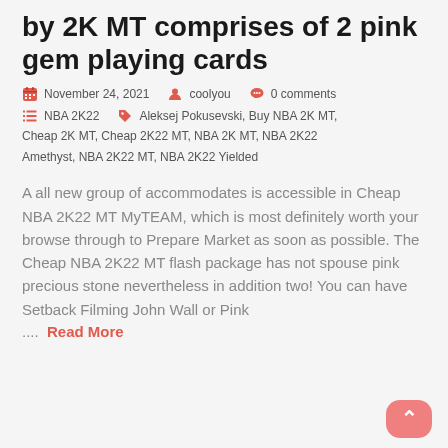by 2K MT comprises of 2 pink gem playing cards
November 24, 2021  coolyou  0 comments  NBA 2K22  Aleksej Pokusevski, Buy NBA 2K MT, Cheap 2K MT, Cheap 2K22 MT, NBA 2K MT, NBA 2K22 Amethyst, NBA 2K22 MT, NBA 2K22 Yielded
A all new group of accommodates is accessible in Cheap NBA 2K22 MT MyTEAM, which is most definitely worth your browse through to Prepare Market as soon as possible. The Cheap NBA 2K22 MT flash package has not spouse pink precious stone nevertheless in addition two! You can have Setback Filming John Wall or Pink ....  Read More